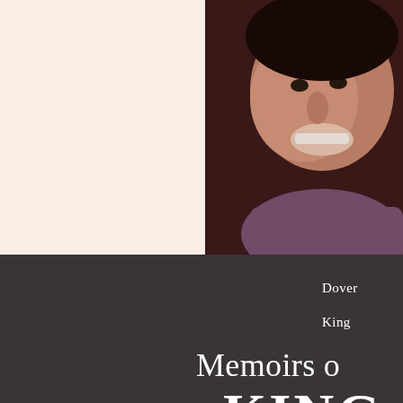[Figure (photo): Book cover showing a partial face photo on the right side with a peach/cream background on the left, dark background on the lower portion with text]
Dover
King
Memoirs o
KING